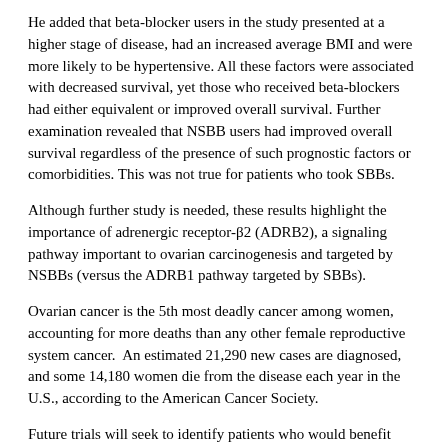He added that beta-blocker users in the study presented at a higher stage of disease, had an increased average BMI and were more likely to be hypertensive. All these factors were associated with decreased survival, yet those who received beta-blockers had either equivalent or improved overall survival. Further examination revealed that NSBB users had improved overall survival regardless of the presence of such prognostic factors or comorbidities. This was not true for patients who took SBBs.
Although further study is needed, these results highlight the importance of adrenergic receptor-β2 (ADRB2), a signaling pathway important to ovarian carcinogenesis and targeted by NSBBs (versus the ADRB1 pathway targeted by SBBs).
Ovarian cancer is the 5th most deadly cancer among women, accounting for more deaths than any other female reproductive system cancer. An estimated 21,290 new cases are diagnosed, and some 14,180 women die from the disease each year in the U.S., according to the American Cancer Society.
Future trials will seek to identify patients who would benefit most from beta-blocker use and the best beta-blocker for a specific tumor type based on adrenergic receptor expression. Then they potentially could be used as an adjuvant therapy during surgical